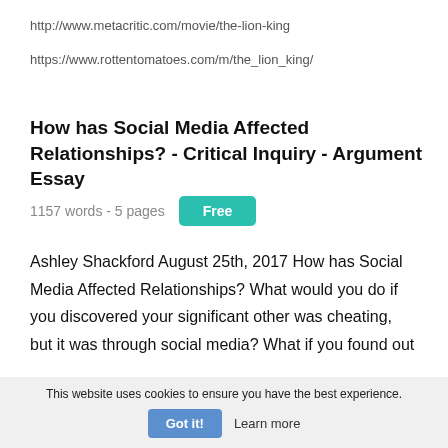http://www.metacritic.com/movie/the-lion-king
https://www.rottentomatoes.com/m/the_lion_king/
How has Social Media Affected Relationships? - Critical Inquiry - Argument Essay
1157 words - 5 pages
Free
Ashley Shackford August 25th, 2017 How has Social Media Affected Relationships? What would you do if you discovered your significant other was cheating, but it was through social media? What if you found out
This website uses cookies to ensure you have the best experience.
Got it!
Learn more